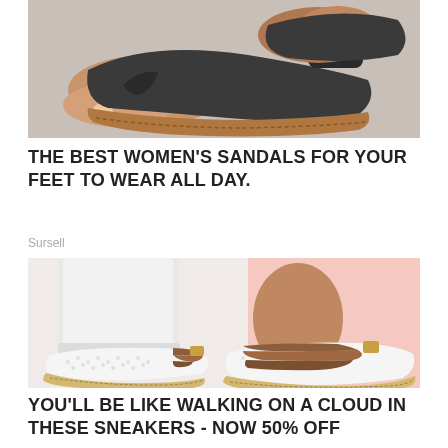[Figure (photo): Close-up photo of women's dark gray/charcoal flip-flop sandals with a toe separator and ankle strap, worn on a person's feet]
THE BEST WOMEN'S SANDALS FOR YOUR FEET TO WEAR ALL DAY.
Sursell
[Figure (photo): Photo of women's white mesh slip-on sneakers with brown and gold striped trim and espadrille-style sole, worn with white jeans, on a pink and white background]
YOU'LL BE LIKE WALKING ON A CLOUD IN THESE SNEAKERS - NOW 50% OFF